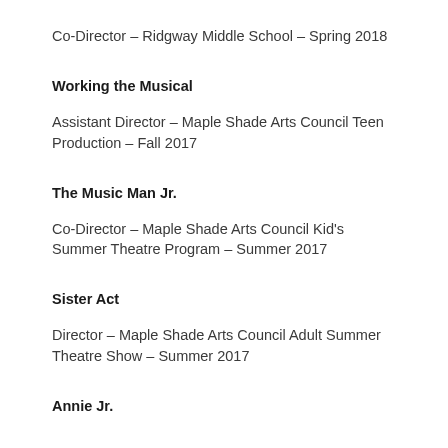Co-Director – Ridgway Middle School – Spring 2018
Working the Musical
Assistant Director – Maple Shade Arts Council Teen Production – Fall 2017
The Music Man Jr.
Co-Director – Maple Shade Arts Council Kid's Summer Theatre Program – Summer 2017
Sister Act
Director – Maple Shade Arts Council Adult Summer Theatre Show – Summer 2017
Annie Jr.